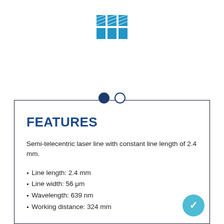[Figure (logo): Blue grid/window logo icon made of 6 rectangles arranged in a 3x2 grid with diagonal lines pattern]
FEATURES
Semi-telecentric laser line with constant line length of 2.4 mm.
Line length: 2.4 mm
Line width: 56 μm
Wavelength: 639 nm
Working distance: 324 mm